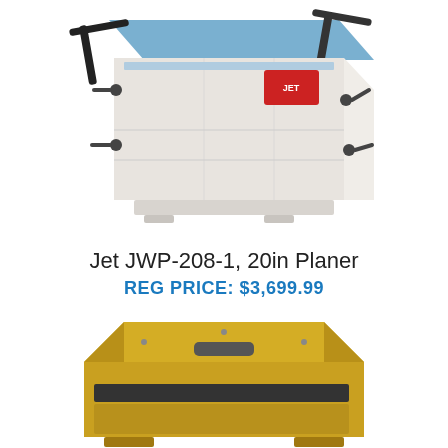[Figure (photo): JET JWP-208-1 20-inch industrial planer machine, white body with blue table surface, viewed from above at an angle, showing feed rollers and adjustment handles]
Jet JWP-208-1, 20in Planer
REG PRICE: $3,699.99
[Figure (photo): Yellow industrial planer machine viewed from the front-side angle, compact design with gold/yellow housing and carry handle]